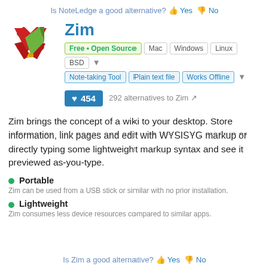Is NoteLedge a good alternative? 👍 Yes 👎 No
Zim
Free • Open Source  Mac  Windows  Linux  BSD
Note-taking Tool  Plain text file  Works Offline
454
292 alternatives to Zim
Zim brings the concept of a wiki to your desktop. Store information, link pages and edit with WYSISYG markup or directly typing some lightweight markup syntax and see it previewed as-you-type.
Portable
Zim can be used from a USB stick or similar with no prior installation.
Lightweight
Zim consumes less device resources compared to similar apps.
Is Zim a good alternative? 👍 Yes 👎 No